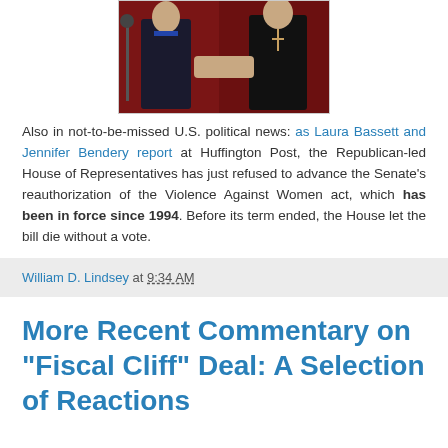[Figure (photo): Two men shaking hands on a stage with red background, one wearing a cross necklace.]
Also in not-to-be-missed U.S. political news: as Laura Bassett and Jennifer Bendery report at Huffington Post, the Republican-led House of Representatives has just refused to advance the Senate's reauthorization of the Violence Against Women act, which has been in force since 1994. Before its term ended, the House let the bill die without a vote.
William D. Lindsey at 9:34 AM
More Recent Commentary on "Fiscal Cliff" Deal: A Selection of Reactions